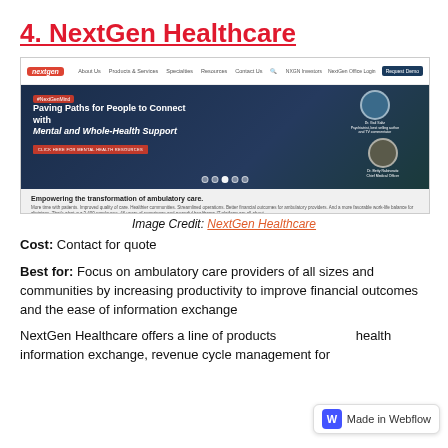4. NextGen Healthcare
[Figure (screenshot): Screenshot of NextGen Healthcare website showing navigation bar with logo and menu links, a hero banner about 'Paving Paths for People to Connect with Mental and Whole-Health Support' with #NextGenMind tag, two circular doctor portraits (Dr. Gail Saltz and Dr. Betty Rabinowitz), an orange CTA button, carousel dots, and a gray section below reading 'Empowering the transformation of ambulatory care.']
Image Credit: NextGen Healthcare
Cost: Contact for quote
Best for: Focus on ambulatory care providers of all sizes and communities by increasing productivity to improve financial outcomes and the ease of information exchange
NextGen Healthcare offers a line of products health information exchange, revenue cycle management for